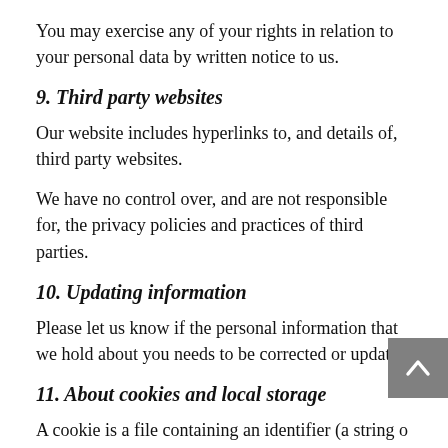You may exercise any of your rights in relation to your personal data by written notice to us.
9. Third party websites
Our website includes hyperlinks to, and details of, third party websites.
We have no control over, and are not responsible for, the privacy policies and practices of third parties.
10. Updating information
Please let us know if the personal information that we hold about you needs to be corrected or updated.
11. About cookies and local storage
A cookie is a file containing an identifier (a string of letters and numbers) that is sent by a web server to a web browser and stored by the browser. The